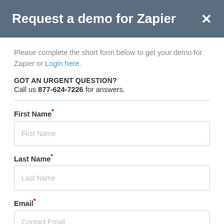Request a demo for Zapier
Please complete the short form below to get your demo for Zapier or Login here.
GOT AN URGENT QUESTION?
Call us 877-624-7226 for answers.
First Name*
Last Name*
Email*
Contact Email